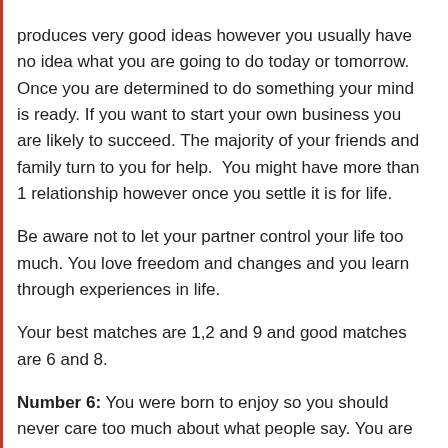produces very good ideas however you usually have no idea what you are going to do today or tomorrow. Once you are determined to do something your mind is ready. If you want to start your own business you are likely to succeed. The majority of your friends and family turn to you for help.  You might have more than 1 relationship however once you settle it is for life.
Be aware not to let your partner control your life too much. You love freedom and changes and you learn through experiences in life.
Your best matches are 1,2 and 9 and good matches are 6 and 8.
Number 6: You were born to enjoy so you should never care too much about what people say. You are likely to succeed in either education or in business management. You are very talented and popular among other people. You only bring good things because your mind and body